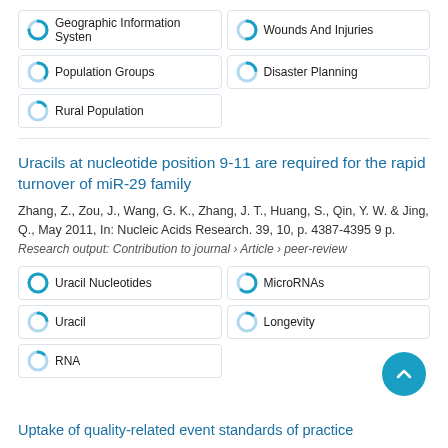Geographic Information System
Wounds And Injuries
Population Groups
Disaster Planning
Rural Population
Uracils at nucleotide position 9-11 are required for the rapid turnover of miR-29 family
Zhang, Z., Zou, J., Wang, G. K., Zhang, J. T., Huang, S., Qin, Y. W. & Jing, Q., May 2011, In: Nucleic Acids Research. 39, 10, p. 4387-4395 9 p.
Research output: Contribution to journal › Article › peer-review
Uracil Nucleotides
MicroRNAs
Uracil
Longevity
RNA
Uptake of quality-related event standards of practice